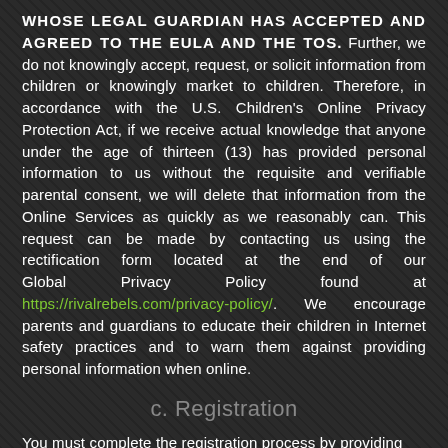WHOSE LEGAL GUARDIAN HAS ACCEPTED AND AGREED TO THE EULA AND THE TOS. Further, we do not knowingly accept, request, or solicit information from children or knowingly market to children. Therefore, in accordance with the U.S. Children's Online Privacy Protection Act, if we receive actual knowledge that anyone under the age of thirteen (13) has provided personal information to us without the requisite and verifiable parental consent, we will delete that information from the Online Services as quickly as we reasonably can. This request can be made by contacting us using the rectification form located at the end of our Global Privacy Policy found at https://rivalrebels.com/privacy-policy/. We encourage parents and guardians to educate their children in Internet safety practices and to warn them against providing personal information when online.
c. Registration
You must complete the registration process by providing